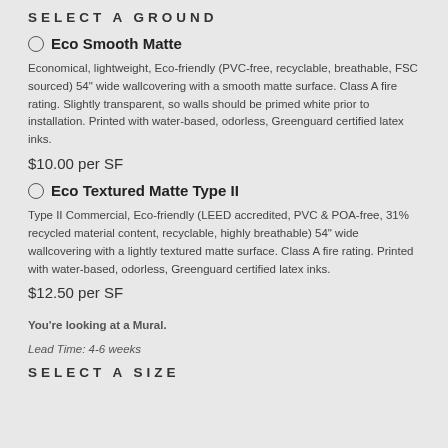SELECT A GROUND
Eco Smooth Matte
Economical, lightweight, Eco-friendly (PVC-free, recyclable, breathable, FSC sourced) 54" wide wallcovering with a smooth matte surface. Class A fire rating. Slightly transparent, so walls should be primed white prior to installation. Printed with water-based, odorless, Greenguard certified latex inks.
$10.00 per SF
Eco Textured Matte Type II
Type II Commercial, Eco-friendly (LEED accredited, PVC & POA-free, 31% recycled material content, recyclable, highly breathable) 54" wide wallcovering with a lightly textured matte surface. Class A fire rating. Printed with water-based, odorless, Greenguard certified latex inks.
$12.50 per SF
You're looking at a Mural.
Lead Time: 4-6 weeks
SELECT A SIZE